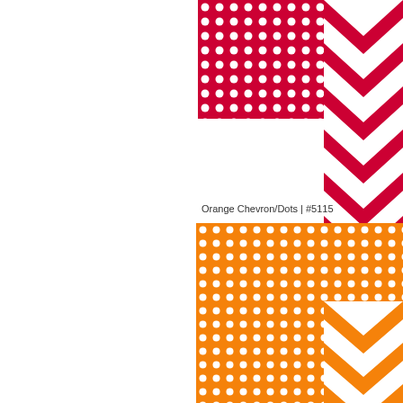[Figure (illustration): Red polka dot pattern rectangle with white dots on crimson/red background, positioned top right]
[Figure (illustration): Red chevron/arrow pattern on white background, positioned top right edge]
Orange Chevron/Dots | #5115
[Figure (illustration): Orange polka dot pattern rectangle with white dots on orange background, positioned bottom right]
[Figure (illustration): Orange chevron/arrow pattern on white background, positioned bottom right edge]